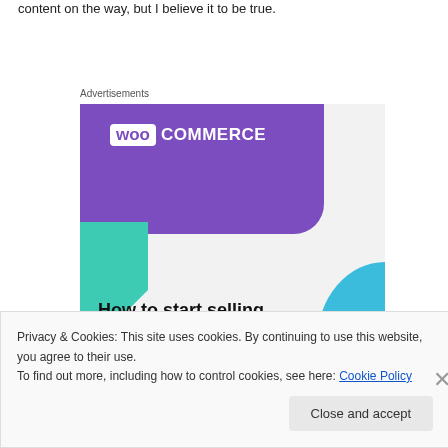content on the way, but I believe it to be true.
Advertisements
[Figure (illustration): WooCommerce advertisement banner showing purple WooCommerce logo on purple background, teal triangle on left, light blue arc on right, with bold text reading 'How to start selling subscriptions online' on light grey background.]
Privacy & Cookies: This site uses cookies. By continuing to use this website, you agree to their use.
To find out more, including how to control cookies, see here: Cookie Policy
Close and accept